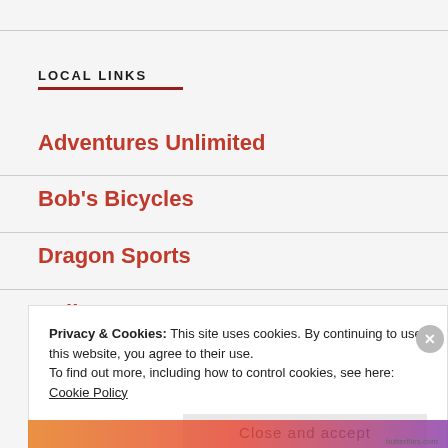LOCAL LINKS
Adventures Unlimited
Bob's Bicycles
Dragon Sports
Eglin Range Map
Privacy & Cookies: This site uses cookies. By continuing to use this website, you agree to their use.
To find out more, including how to control cookies, see here: Cookie Policy
Close and accept